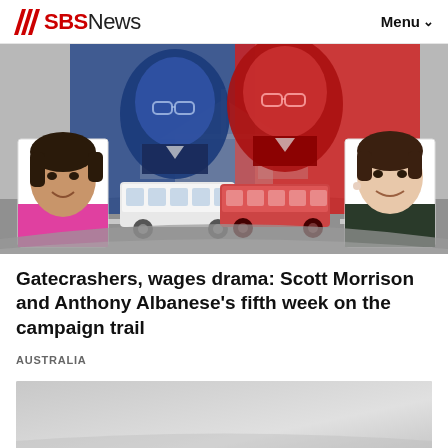SBS News  Menu
[Figure (illustration): Hero image showing Scott Morrison (blue tinted) and Anthony Albanese (red tinted) as large background portraits with Parliament House silhouette in center, two campaign buses in foreground, and two smaller reporter headshots on left and right sides]
Gatecrashers, wages drama: Scott Morrison and Anthony Albanese's fifth week on the campaign trail
AUSTRALIA
[Figure (photo): Partially visible image at bottom of page, appears to be another article image, mostly grey/light toned]